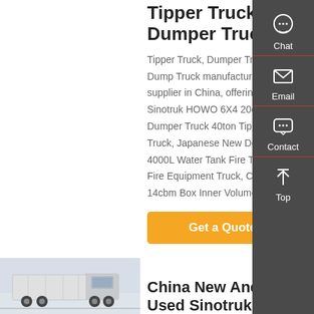Tipper Truck, Dumper Truck
Tipper Truck, Dumper Truck, Dump Truck manufacturer / supplier in China, offering Sinotruk HOWO 6X4 20cbm Dumper Truck 40ton Tipper Truck, Japanese New Design 4000L Water Tank Fire Truck Fire Equipment Truck, Ciw Brand 14cbm Box Inner Volume
Get a Quote
[Figure (photo): Truck / semi-truck photo at bottom left]
China New And Used Sinotruk...